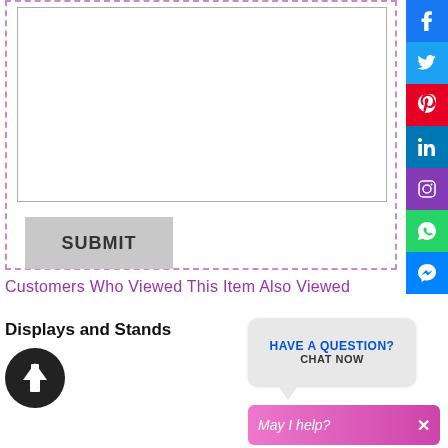[Figure (screenshot): Web form area with dashed purple border containing a large empty textarea and a grey SUBMIT button]
[Figure (infographic): Social media sharing sidebar with icons for Facebook, Twitter, Pinterest, LinkedIn, Instagram, WhatsApp, and Messenger]
Customers Who Viewed This Item Also Viewed
Displays and Stands
[Figure (illustration): Black circle with white upward arrow icon (scroll to top button)]
[Figure (screenshot): Chat bubble widget with text HAVE A QUESTION? CHAT NOW]
[Figure (screenshot): Pink chat bar with text May I help? and an X close button]